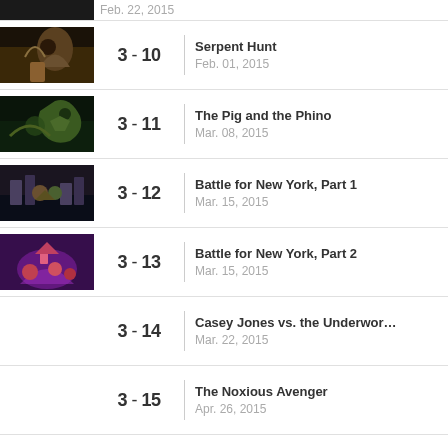(partial) date cut off at top
3 - 10 | Serpent Hunt | Feb. 01, 2015
3 - 11 | The Pig and the Phino | Mar. 08, 2015
3 - 12 | Battle for New York, Part 1 | Mar. 15, 2015
3 - 13 | Battle for New York, Part 2 | Mar. 15, 2015
3 - 14 | Casey Jones vs. the Underwor... | Mar. 22, 2015
3 - 15 | The Noxious Avenger | Apr. 26, 2015
3 - 16 | Clash of the Mutanimals